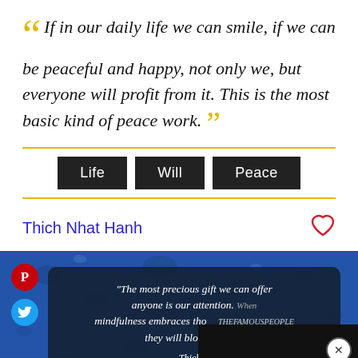“If in our daily life we can smile, if we can be peaceful and happy, not only we, but everyone will profit from it. This is the most basic kind of peace work.”
Life  Will  Peace
Thich Nhat Hanh
[Figure (screenshot): A quote image card showing a Thich Nhat Hanh quote on a blue water-drops background with social media share buttons (Pinterest, Twitter), a dark text box with partial quote text reading 'The most precious gift we can offer anyone is our attention. When mindfulness embraces those they will bloom like fl...' attributed to 'Thich N...' with TheFamousPeople.com watermark and THEFAMOUSPEOPLE branding badge.]